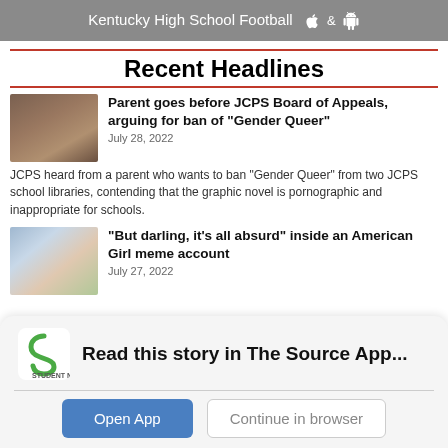[Figure (screenshot): Gray banner with text 'Kentucky High School Football' and Apple and Android icons]
Recent Headlines
[Figure (photo): Photo of a meeting room or auditorium with people]
Parent goes before JCPS Board of Appeals, arguing for ban of “Gender Queer”
July 28, 2022
JCPS heard from a parent who wants to ban “Gender Queer” from two JCPS school libraries, contending that the graphic novel is pornographic and inappropriate for schools.
[Figure (photo): Photo of colorful American Girl dolls]
“But darling, it’s all absurd” inside an American Girl meme account
July 27, 2022
[Figure (logo): Student News Source app logo - green S shape]
Read this story in The Source App...
Open App
Continue in browser